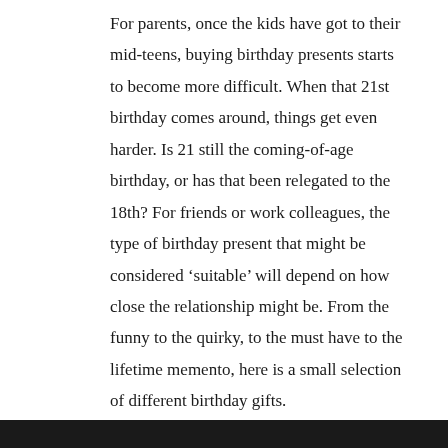For parents, once the kids have got to their mid-teens, buying birthday presents starts to become more difficult. When that 21st birthday comes around, things get even harder. Is 21 still the coming-of-age birthday, or has that been relegated to the 18th? For friends or work colleagues, the type of birthday present that might be considered 'suitable' will depend on how close the relationship might be. From the funny to the quirky, to the must have to the lifetime memento, here is a small selection of different birthday gifts.
After-all, as they say, 'it's the thought that counts.'